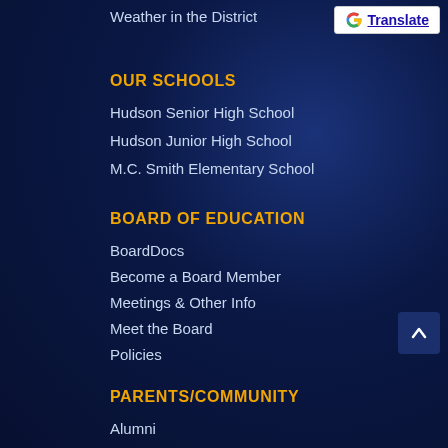Weather in the District
OUR SCHOOLS
Hudson Senior High School
Hudson Junior High School
M.C. Smith Elementary School
BOARD OF EDUCATION
BoardDocs
Become a Board Member
Meetings & Other Info
Meet the Board
Policies
PARENTS/COMMUNITY
Alumni
Community Endowment Fund
eNews & Publications